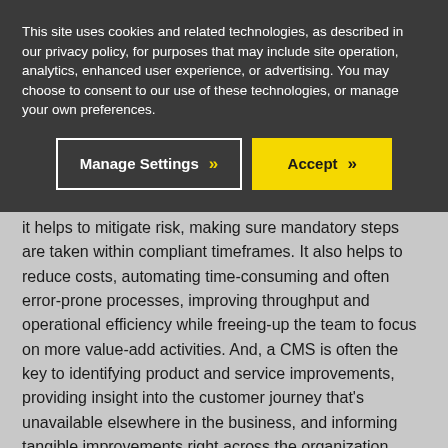This site uses cookies and related technologies, as described in our privacy policy, for purposes that may include site operation, analytics, enhanced user experience, or advertising. You may choose to consent to our use of these technologies, or manage your own preferences.
Manage Settings
Accept
it helps to mitigate risk, making sure mandatory steps are taken within compliant timeframes. It also helps to reduce costs, automating time-consuming and often error-prone processes, improving throughput and operational efficiency while freeing-up the team to focus on more value-add activities. And, a CMS is often the key to identifying product and service improvements, providing insight into the customer journey that's unavailable elsewhere in the business, and informing tangible improvements right across the organization.
Hit the Ground Running with the Right Complaint Management System Implementation